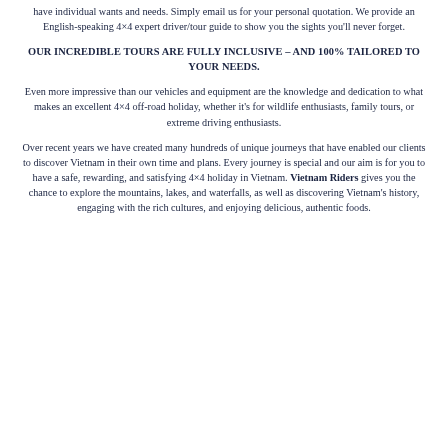have individual wants and needs. Simply email us for your personal quotation. We provide an English-speaking 4×4 expert driver/tour guide to show you the sights you'll never forget.
OUR INCREDIBLE TOURS ARE FULLY INCLUSIVE – AND 100% TAILORED TO YOUR NEEDS.
Even more impressive than our vehicles and equipment are the knowledge and dedication to what makes an excellent 4×4 off-road holiday, whether it's for wildlife enthusiasts, family tours, or extreme driving enthusiasts.
Over recent years we have created many hundreds of unique journeys that have enabled our clients to discover Vietnam in their own time and plans. Every journey is special and our aim is for you to have a safe, rewarding, and satisfying 4×4 holiday in Vietnam. Vietnam Riders gives you the chance to explore the mountains, lakes, and waterfalls, as well as discovering Vietnam's history, engaging with the rich cultures, and enjoying delicious, authentic foods.